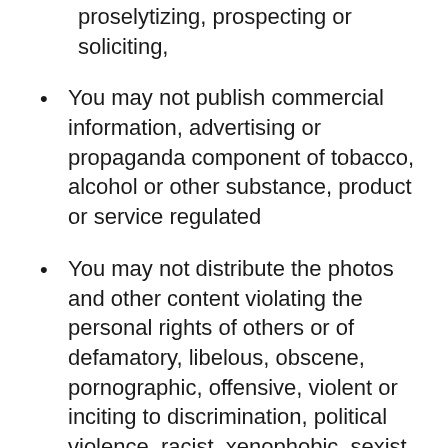proselytizing, prospecting or soliciting,
You may not publish commercial information, advertising or propaganda component of tobacco, alcohol or other substance, product or service regulated
You may not distribute the photos and other content violating the personal rights of others or of defamatory, libelous, obscene, pornographic, offensive, violent or inciting to discrimination, political violence, racist, xenophobic, sexist or homophobic
You may not publish information in